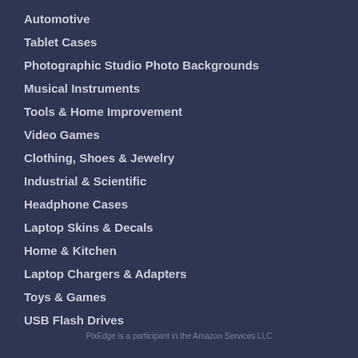Automotive
Tablet Cases
Photographic Studio Photo Backgrounds
Musical Instruments
Tools & Home Improvement
Video Games
Clothing, Shoes & Jewelry
Industrial & Scientific
Headphone Cases
Laptop Skins & Decals
Home & Kitchen
Laptop Chargers & Adapters
Toys & Games
USB Flash Drives
PixEdge is a participant in the Amazon Services LLC